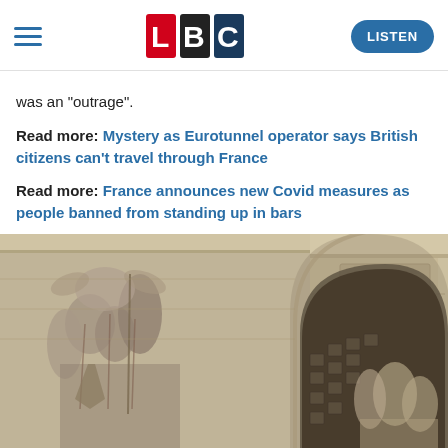LBC — LISTEN
was an "outrage".
Read more: Mystery as Eurotunnel operator says British citizens can't travel through France
Read more: France announces new Covid measures as people banned from standing up in bars
[Figure (photo): Close-up photograph of the Arc de Triomphe in Paris with an EU flag hanging beneath the arch, taken from a low angle looking upward. Stone relief sculptures visible on the sides.]